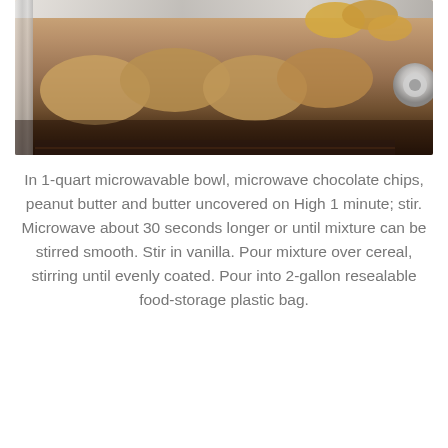[Figure (photo): Photo of tamales or similar food items arranged in a large stainless steel pan on a stovetop, viewed from above and to the side, with some crispy food items on top.]
In 1-quart microwavable bowl, microwave chocolate chips, peanut butter and butter uncovered on High 1 minute; stir. Microwave about 30 seconds longer or until mixture can be stirred smooth. Stir in vanilla. Pour mixture over cereal, stirring until evenly coated. Pour into 2-gallon resealable food-storage plastic bag.